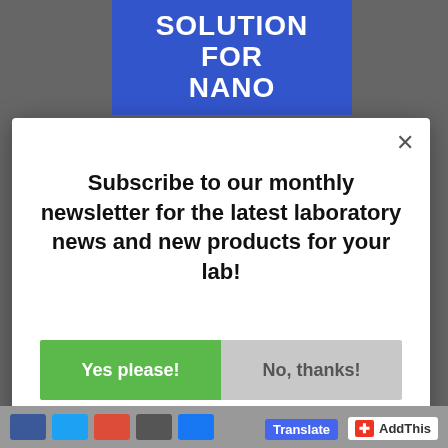[Figure (screenshot): Blue banner at top with white bold text reading 'SOLUTION FOR NANO' partially visible]
×
Subscribe to our monthly newsletter for the latest laboratory news and new products for your lab!
Yes please!
No, thanks!
[Figure (screenshot): AddThis badge and Translate badge at bottom right, social media icon buttons at bottom left]